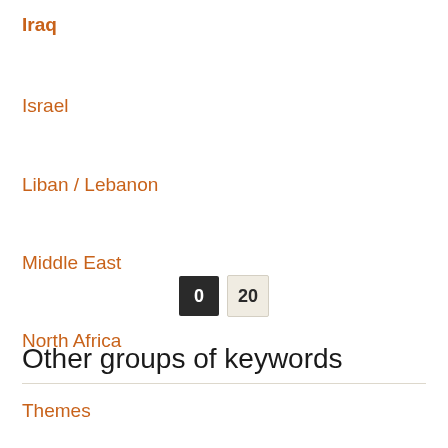Iraq
Israel
Liban / Lebanon
Middle East
North Africa
North America
Palestinian Territories
Other groups of keywords
Themes